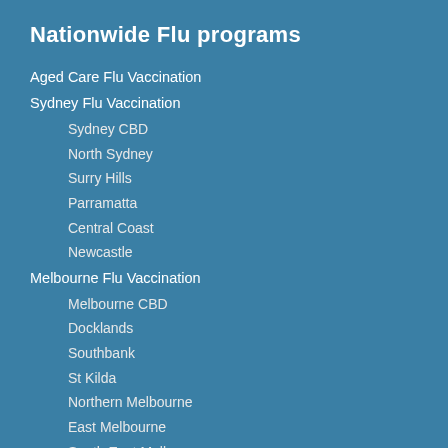Nationwide Flu programs
Aged Care Flu Vaccination
Sydney Flu Vaccination
Sydney CBD
North Sydney
Surry Hills
Parramatta
Central Coast
Newcastle
Melbourne Flu Vaccination
Melbourne CBD
Docklands
Southbank
St Kilda
Northern Melbourne
East Melbourne
South East Melbourne
Geelong
Canberra Flu Vaccination
Brisbane Flu Vaccination
Regional Queensland
Adelaide Flu Vaccination